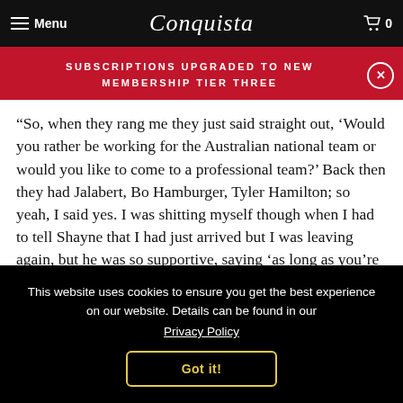Menu | Conquista | 0
SUBSCRIPTIONS UPGRADED TO NEW MEMBERSHIP TIER THREE
“So, when they rang me they just said straight out, ‘Would you rather be working for the Australian national team or would you like to come to a professional team?’ Back then they had Jalabert, Bo Hamburger, Tyler Hamilton; so yeah, I said yes. I was shitting myself though when I had to tell Shayne that I had just arrived but I was leaving again, but he was so supportive, saying ‘as long as you’re going upwards
This website uses cookies to ensure you get the best experience on our website. Details can be found in our Privacy Policy
Got it!